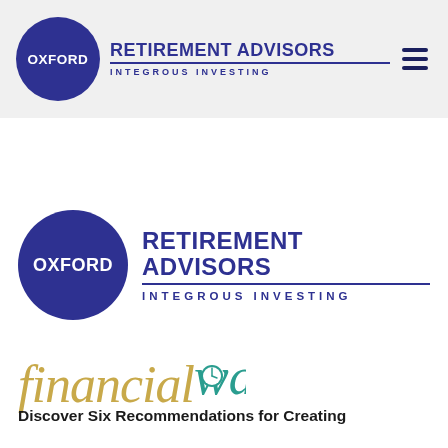[Figure (logo): Oxford Retirement Advisors logo in header bar: dark blue circle with OXFORD text, followed by RETIREMENT ADVISORS and INTEGROUS INVESTING tagline. Hamburger menu icon on right.]
[Figure (logo): Oxford Retirement Advisors logo (larger version): dark blue circle with OXFORD text, followed by RETIREMENT ADVISORS and INTEGROUS INVESTING tagline.]
[Figure (logo): financial watch logo: 'financial' in gold italic serif, 'watch' in teal italic serif with clock face replacing the 'o'.]
Discover Six Recommendations for Creating